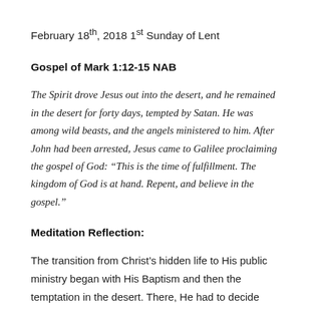February 18th, 2018 1st Sunday of Lent
Gospel of Mark 1:12-15 NAB
The Spirit drove Jesus out into the desert, and he remained in the desert for forty days, tempted by Satan. He was among wild beasts, and the angels ministered to him. After John had been arrested, Jesus came to Galilee proclaiming the gospel of God: “This is the time of fulfillment. The kingdom of God is at hand. Repent, and believe in the gospel.”
Meditation Reflection:
The transition from Christ’s hidden life to His public ministry began with His Baptism and then the temptation in the desert. There, He had to decide